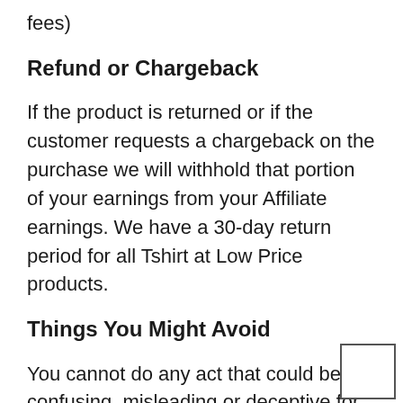fees)
Refund or Chargeback
If the product is returned or if the customer requests a chargeback on the purchase we will withhold that portion of your earnings from your Affiliate earnings. We have a 30-day return period for all Tshirt at Low Price products.
Things You Might Avoid
You cannot do any act that could be confusing, misleading or deceptive for users, inter alias, confuse them about the fact that your website is managed or authorized by